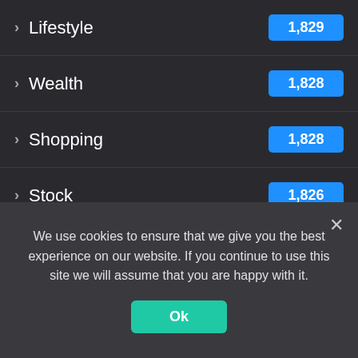Lifestyle
Wealth
Shopping
Stock
Gap cover
Economy
Agency
Tesla
Startups
Luxury
We use cookies to ensure that we give you the best experience on our website. If you continue to use this site we will assume that you are happy with it.